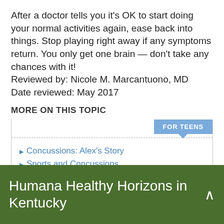After a doctor tells you it's OK to start doing your normal activities again, ease back into things. Stop playing right away if any symptoms return. You only get one brain — don't take any chances with it! Reviewed by: Nicole M. Marcantuono, MD Date reviewed: May 2017
MORE ON THIS TOPIC
Concussions: Alex's Story
Sports and Concussions
Humana Healthy Horizons in Kentucky